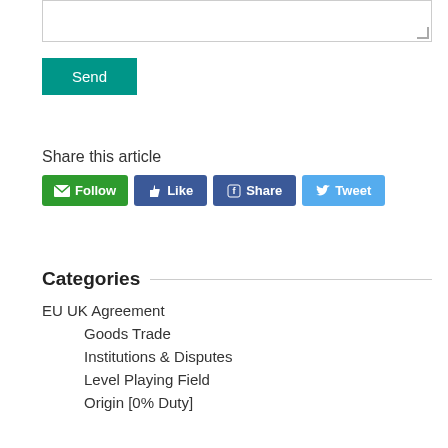Send
Share this article
Follow Like Share Tweet
Categories
EU UK Agreement
Goods Trade
Institutions & Disputes
Level Playing Field
Origin [0% Duty]